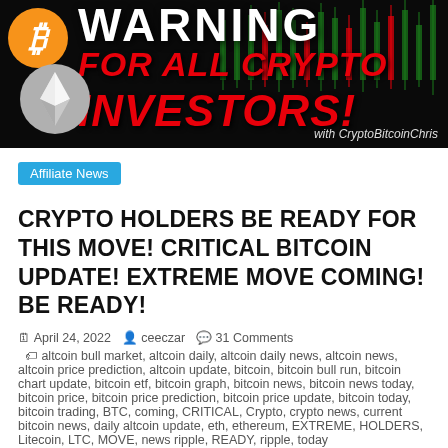[Figure (illustration): Warning banner for crypto investors with Bitcoin and Ethereum icons, red text on black background, with CryptoBitcoinChris branding]
Affiliate News
CRYPTO HOLDERS BE READY FOR THIS MOVE! CRITICAL BITCOIN UPDATE! EXTREME MOVE COMING! BE READY!
April 24, 2022   ceeczar   31 Comments   altcoin bull market, altcoin daily, altcoin daily news, altcoin news, altcoin price prediction, altcoin update, bitcoin, bitcoin bull run, bitcoin chart update, bitcoin etf, bitcoin graph, bitcoin news, bitcoin news today, bitcoin price, bitcoin price prediction, bitcoin price update, bitcoin today, bitcoin trading, BTC, coming, CRITICAL, Crypto, crypto news, current bitcoin news, daily altcoin update, eth, ethereum, EXTREME, HOLDERS, Litecoin, LTC, MOVE, news ripple, READY, ripple, today